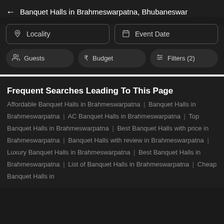Banquet Halls in Brahmeswarpatna, Bhubaneswar
[Figure (screenshot): Filter bar with Locality and Event Date input fields, and Guests, Budget, Filters(2) buttons]
Frequent Searches Leading To This Page
Affordable Banquet Halls in Brahmeswarpatna | Banquet Halls in Brahmeswarpatna | AC Banquet Halls in Brahmeswarpatna | Top Banquet Halls in Brahmeswarpatna | Best Banquet Halls with price in Brahmeswarpatna | Banquet Halls with review in Brahmeswarpatna | Luxury Banquet Halls in Brahmeswarpatna | Best Banquet Halls in Brahmeswarpatna | List of Banquet Halls in Brahmeswarpatna | Cheap Banquet Halls in